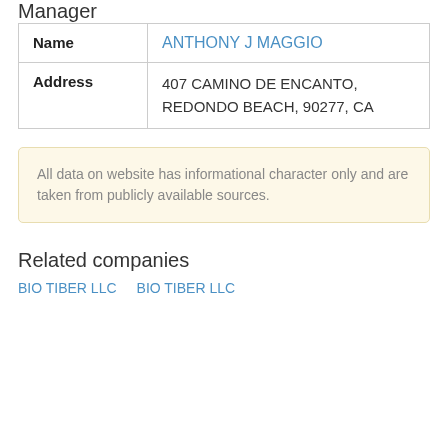Manager
|  |  |
| --- | --- |
| Name | ANTHONY J MAGGIO |
| Address | 407 CAMINO DE ENCANTO, REDONDO BEACH, 90277, CA |
All data on website has informational character only and are taken from publicly available sources.
Related companies
BIO TIBER LLC  BIO TIBER LLC